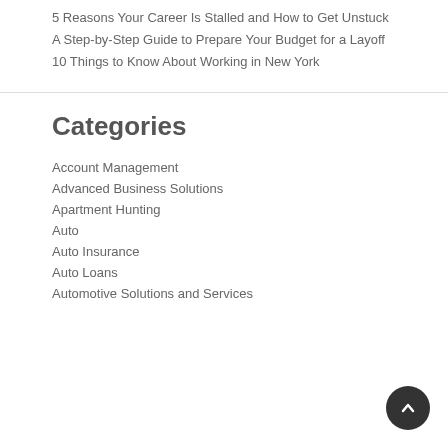5 Reasons Your Career Is Stalled and How to Get Unstuck
A Step-by-Step Guide to Prepare Your Budget for a Layoff
10 Things to Know About Working in New York
Categories
Account Management
Advanced Business Solutions
Apartment Hunting
Auto
Auto Insurance
Auto Loans
Automotive Solutions and Services